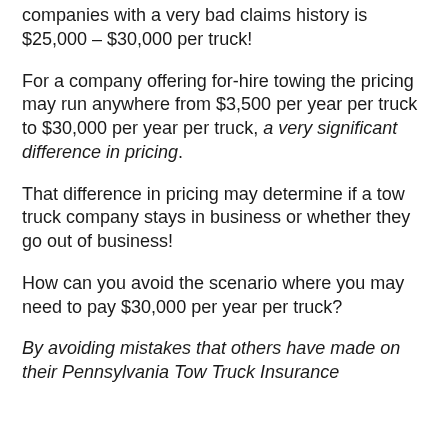companies with a very bad claims history is $25,000 – $30,000 per truck!
For a company offering for-hire towing the pricing may run anywhere from $3,500 per year per truck to $30,000 per year per truck, a very significant difference in pricing.
That difference in pricing may determine if a tow truck company stays in business or whether they go out of business!
How can you avoid the scenario where you may need to pay $30,000 per year per truck?
By avoiding mistakes that others have made on their Pennsylvania Tow Truck Insurance